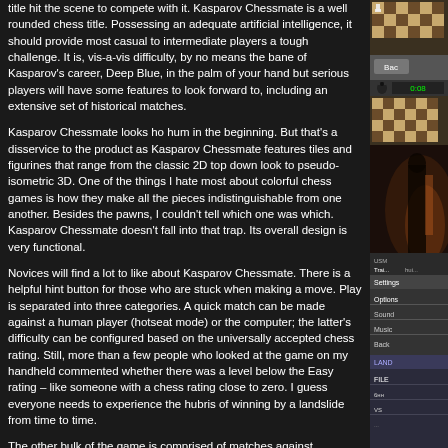title hit the scene to compete with it. Kasparov Chessmate is a well rounded chess title. Possessing an adequate artificial intelligence, it should provide most casual to intermediate players a tough challenge. It is, vis-a-vis difficulty, by no means the bane of Kasparov's career, Deep Blue, in the palm of your hand but serious players will have some features to look forward to, including an extensive set of historical matches.
Kasparov Chessmate looks ho hum in the beginning. But that's a disservice to the product as Kasparov Chessmate features tiles and figurines that range from the classic 2D top down look to pseudo-isometric 3D. One of the things I hate most about colorful chess games is how they make all the pieces indistinguishable from one another. Besides the pawns, I couldn't tell which one was which. Kasparov Chessmate doesn't fall into that trap. Its overall design is very functional.
Novices will find a lot to like about Kasparov Chessmate. There is a helpful hint button for those who are stuck when making a move. Play is separated into three categories. A quick match can be made against a human player (hotseat mode) or the computer; the latter's difficulty can be configured based on the universally accepted chess rating. Still, more than a few people who looked at the game on my handheld commented whether there was a level below the Easy rating – like someone with a chess rating close to zero. I guess everyone needs to experience the hubris of winning by a landslide from time to time.
The other bulk of the game is comprised of matches against members of Kasparov's chess club. Simply put, you're pitted against pre-defined characters with skills and attributes molded by the developer. It's here
[Figure (screenshot): Screenshot of chess game showing card/piece selection interface]
[Figure (screenshot): Screenshot showing game timer display with 0:08]
[Figure (screenshot): Dark screenshot showing a character or game scene]
[Figure (screenshot): Screenshot showing game menu options]
[Figure (screenshot): Partial screenshot at bottom showing LAND/FILE interface]